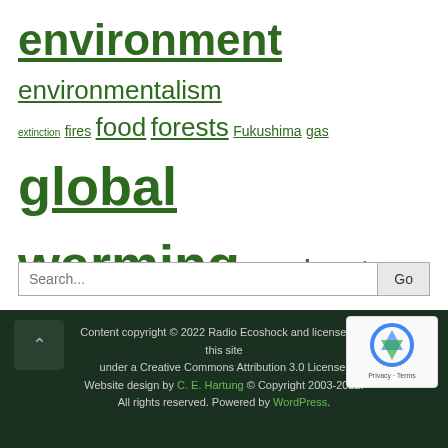environment environmentalism extinction fires food forests Fukushima gas global warming health heat Japan media methane nuclear nuclear power oceans oil peak oil psychology radio radio ecoshock reactors safety science solar solutions survival u.s. weather
Search...
Content copyright © 2022 Radio Ecoshock and licensed on this site under a Creative Commons Attribution 3.0 License. Website design by C. E. Hartung © Copyright 2003-2022. All rights reserved. Powered by WordPress.